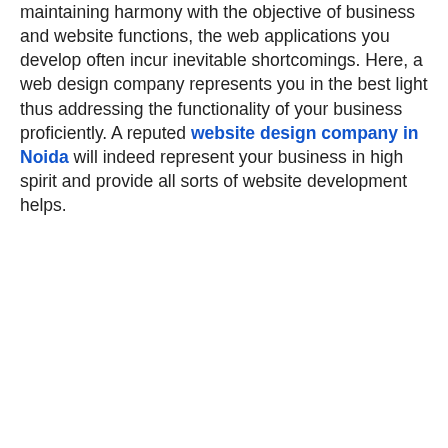maintaining harmony with the objective of business and website functions, the web applications you develop often incur inevitable shortcomings. Here, a web design company represents you in the best light thus addressing the functionality of your business proficiently. A reputed website design company in Noida will indeed represent your business in high spirit and provide all sorts of website development helps.
A professional web design company is believably skilled and employs proficient professionals who have expertise in several areas like web development, web design, SEO, content, and optimization activities. Instead of hiring a vendor for designing your website, show trust in the best web design company that not just saves your time but ensures the best results. The web designing professionals